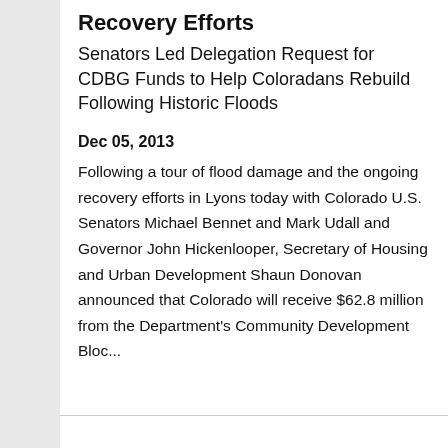Recovery Efforts
Senators Led Delegation Request for CDBG Funds to Help Coloradans Rebuild Following Historic Floods
Dec 05, 2013
Following a tour of flood damage and the ongoing recovery efforts in Lyons today with Colorado U.S. Senators Michael Bennet and Mark Udall and Governor John Hickenlooper, Secretary of Housing and Urban Development Shaun Donovan announced that Colorado will receive $62.8 million from the Department's Community Development Bloc...